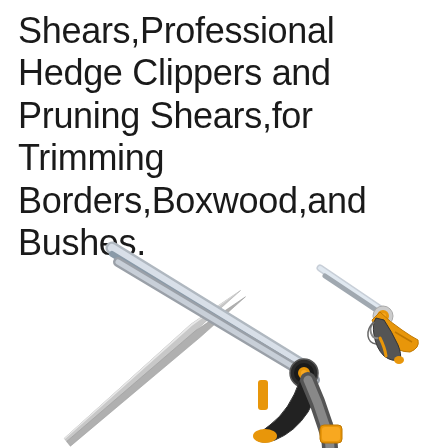Shears,Professional Hedge Clippers and Pruning Shears,for Trimming Borders,Boxwood,and Bushes.
[Figure (photo): Two gardening tools on a white background: a large hedge shear/clipper with black and orange handles and long silver blades on the left, and a smaller pruning shear/secateur with orange and grey handles and silver blades on the upper right.]